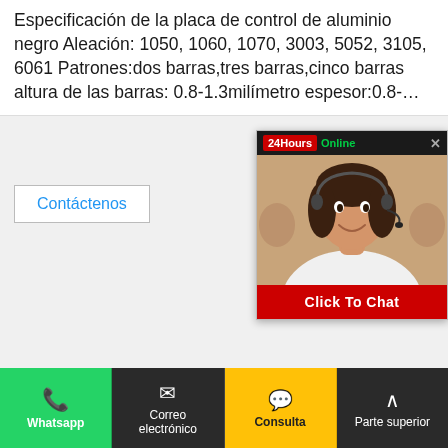Especificación de la placa de control de aluminio negro Aleación: 1050, 1060, 1070, 3003, 5052, 3105, 6061 Patrones:dos barras,tres barras,cinco barras altura de las barras: 0.8-1.3milímetro espesor:0.8-...
[Figure (screenshot): Chat widget with agent photo, '24Hours Online' header, and 'Click To Chat' red button]
Contáctenos
[Figure (photo): Photo of aluminum checker plate (tread plate) showing diamond/bar pattern, dark on left and lighter on right, with HWALU brand logo and Henan Huawei Aluminium Co Ltd text]
[Figure (screenshot): Bottom navigation bar with Whatsapp (green), Correo electrónico (dark), Consulta (yellow), Parte superior (dark) buttons]